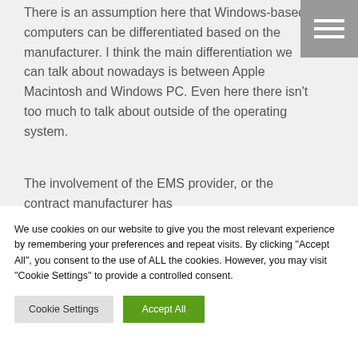There is an assumption here that Windows-based computers can be differentiated based on the manufacturer. I think the main differentiation we can talk about nowadays is between Apple Macintosh and Windows PC. Even here there isn't too much to talk about outside of the operating system.
The involvement of the EMS provider, or the contract manufacturer has
We use cookies on our website to give you the most relevant experience by remembering your preferences and repeat visits. By clicking "Accept All", you consent to the use of ALL the cookies. However, you may visit "Cookie Settings" to provide a controlled consent.